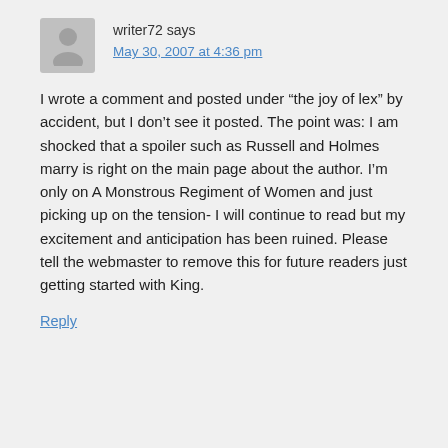writer72 says
May 30, 2007 at 4:36 pm
I wrote a comment and posted under “the joy of lex” by accident, but I don’t see it posted. The point was: I am shocked that a spoiler such as Russell and Holmes marry is right on the main page about the author. I’m only on A Monstrous Regiment of Women and just picking up on the tension- I will continue to read but my excitement and anticipation has been ruined. Please tell the webmaster to remove this for future readers just getting started with King.
Reply